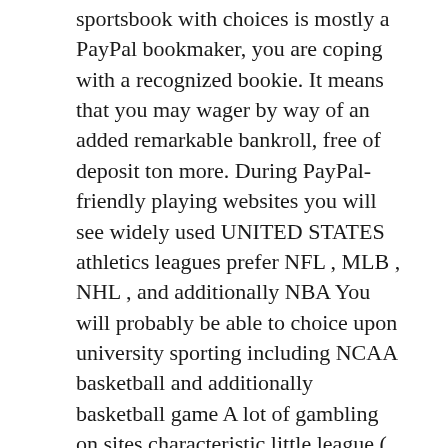sportsbook with choices is mostly a PayPal bookmaker, you are coping with a recognized bookie. It means that you may wager by way of an added remarkable bankroll, free of deposit ton more. During PayPal-friendly playing websites you will see widely used UNITED STATES athletics leagues prefer NFL , MLB , NHL , and additionally NBA You will probably be able to choice upon university sporting including NCAA basketball and additionally basketball game A lot of gambling on sites characteristic little league ( EPL , Champs Bit of league , Bundesliga , MLS , Toscana Serie A new , Lah Liga , Liga MX, and then Ligue 1 ). You will experience local sporting events leagues with respect to rugby and additionally handball, together with promote sports activities including the WNBA located at using the web PayPal gambling websites.
Additionally, observe that one can find usually not all